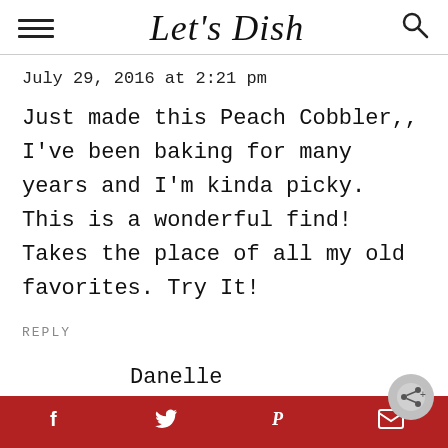Let's Dish
July 29, 2016 at 2:21 pm
Just made this Peach Cobbler,, I've been baking for many years and I'm kinda picky. This is a wonderful find! Takes the place of all my old favorites. Try It!
REPLY
Danelle
Social share bar with facebook, twitter, pinterest, email, and share button